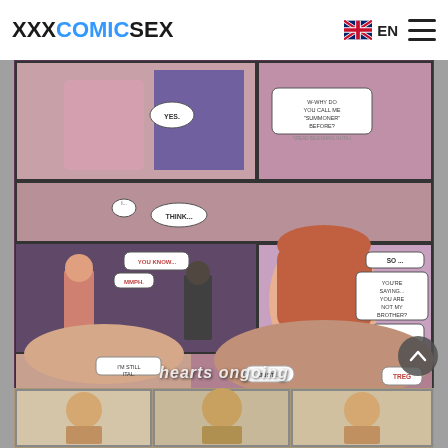XXXCOMICSEX  EN
[Figure (illustration): Manga/comic page showing multiple panels with characters. Top panels show a female character asking 'W-WHY DO YOU CALL ME SUMMONER BEFORE?' and speech bubble 'YES.' and 'I... THINK...' Middle panels show two figures in a room, speech bubbles: 'YOU KNOW...', 'MMPH.', 'SO...', 'YOU'RE SAYING... YOU ARE NOT MY BROTHER?', 'OH NO...' Bottom panel shows a smiling male character and female character, speech bubbles: 'I'M STILL ITAL', 'JUST...', 'TREG', 'GOOD...' with watermark text 'hearts ongoing']
[Figure (illustration): Bottom strip showing partial comic panels with characters]